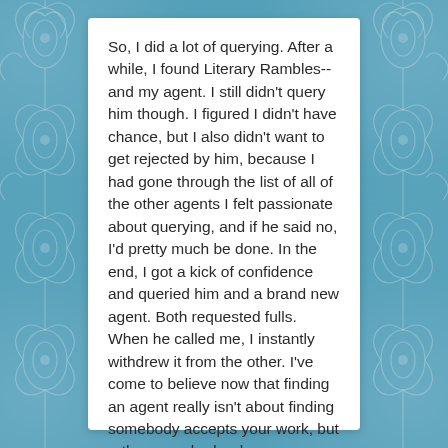So, I did a lot of querying. After a while, I found Literary Rambles--and my agent. I still didn't query him though. I figured I didn't have chance, but I also didn't want to get rejected by him, because I had gone through the list of all of the other agents I felt passionate about querying, and if he said no, I'd pretty much be done. In the end, I got a kick of confidence and queried him and a brand new agent. Both requested fulls. When he called me, I instantly withdrew it from the other. I've come to believe now that finding an agent really isn't about finding somebody accepts your work, but rather somebody who you can work with and really trust. It may take time to find an agent that it clicks with--but it's worth it.